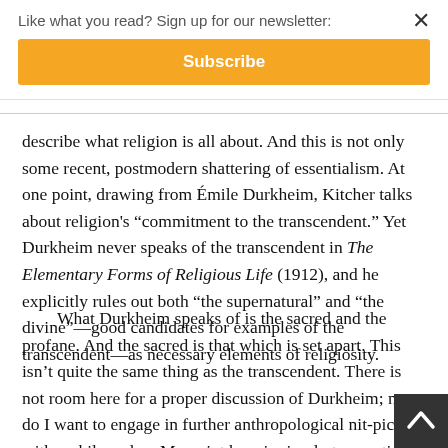Like what you read? Sign up for our newsletter:
Subscribe
describe what religion is all about. And this is not only some recent, postmodern shattering of essentialism. At one point, drawing from Émile Durkheim, Kitcher talks about religion's “commitment to the transcendent.” Yet Durkheim never speaks of the transcendent in The Elementary Forms of Religious Life (1912), and he explicitly rules out both “the supernatural” and “the divine”—good candidates for examples of the transcendent—as necessary elements of religiosity.
What Durkheim speaks of is the sacred and the profane. And the sacred is that which is set apart. This isn’t quite the same thing as the transcendent. There is not room here for a proper discussion of Durkheim; nor do I want to engage in further anthropological nit-picking with a philosopher. My point here is simply to question the l…